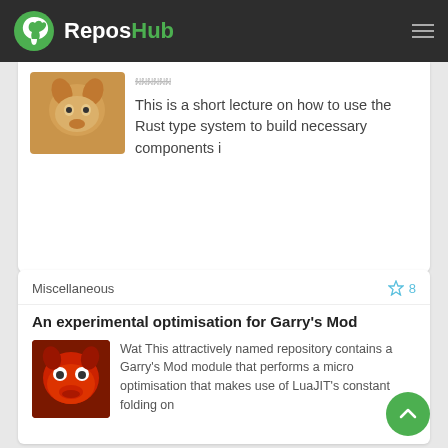ReposHub
This is a short lecture on how to use the Rust type system to build necessary components i
Miscellaneous
An experimental optimisation for Garry's Mod
Wat This attractively named repository contains a Garry's Mod module that performs a micro optimisation that makes use of LuaJIT's constant folding on